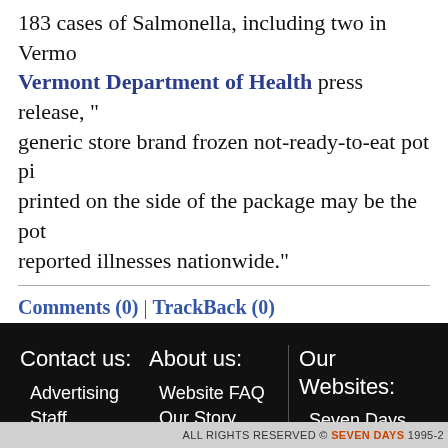183 cases of Salmonella, including two in Vermo... Vermont Department of Health press release, "...generic store brand frozen not-ready-to-eat pot pi...printed on the side of the package may be the pot...reported illnesses nationwide."
Comments (0) | TrackBack (0)
Contact us: Advertising, Staff Directory, Submissions, Sponsorships | About us: Website FAQ, Our Story, Privacy Policy | Our Websites: Seven Days, Classifieds, Dining Guide, Personals
ALL RIGHTS RESERVED © SEVEN DAYS 1995-2...